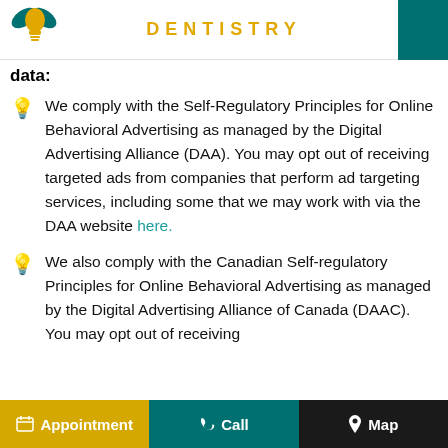DENTISTRY
data:
We comply with the Self-Regulatory Principles for Online Behavioral Advertising as managed by the Digital Advertising Alliance (DAA). You may opt out of receiving targeted ads from companies that perform ad targeting services, including some that we may work with via the DAA website here.
We also comply with the Canadian Self-regulatory Principles for Online Behavioral Advertising as managed by the Digital Advertising Alliance of Canada (DAAC). You may opt out of receiving
Appointment   Call   Map